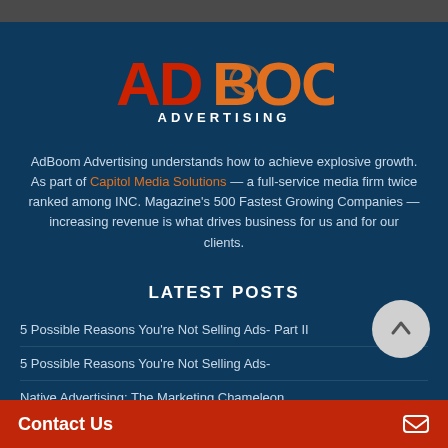[Figure (logo): AdBoom Advertising logo — 'AD' in red block letters, 'BOOM' in orange block letters with circular accents, 'ADVERTISING' in white below]
AdBoom Advertising understands how to achieve explosive growth. As part of Capitol Media Solutions — a full-service media firm twice ranked among INC. Magazine's 500 Fastest Growing Companies — increasing revenue is what drives business for us and for our clients.
LATEST POSTS
5 Possible Reasons You're Not Selling Ads- Part II
5 Possible Reasons You're Not Selling Ads-
Native Advertising: The Marketing Chameleon
Contact Us